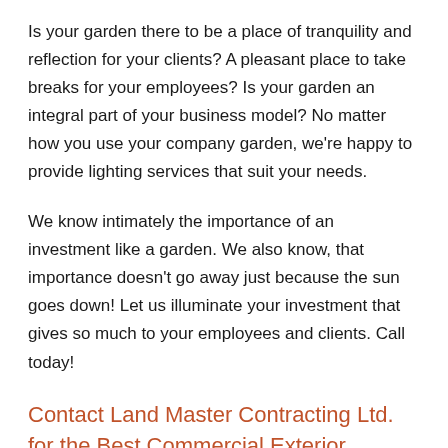Is your garden there to be a place of tranquility and reflection for your clients? A pleasant place to take breaks for your employees? Is your garden an integral part of your business model? No matter how you use your company garden, we're happy to provide lighting services that suit your needs.
We know intimately the importance of an investment like a garden. We also know, that importance doesn't go away just because the sun goes down! Let us illuminate your investment that gives so much to your employees and clients. Call today!
Contact Land Master Contracting Ltd. for the Best Commercial Exterior Lighting Services in Newmarket